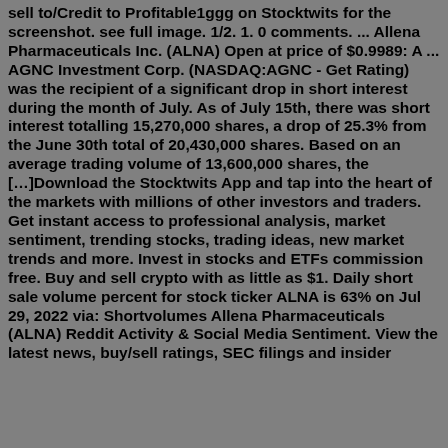sell to/Credit to Profitable1ggg on Stocktwits for the screenshot. see full image. 1/2. 1. 0 comments. ... Allena Pharmaceuticals Inc. (ALNA) Open at price of $0.9989: A ... AGNC Investment Corp. (NASDAQ:AGNC - Get Rating) was the recipient of a significant drop in short interest during the month of July. As of July 15th, there was short interest totalling 15,270,000 shares, a drop of 25.3% from the June 30th total of 20,430,000 shares. Based on an average trading volume of 13,600,000 shares, the […]Download the Stocktwits App and tap into the heart of the markets with millions of other investors and traders. Get instant access to professional analysis, market sentiment, trending stocks, trading ideas, new market trends and more. Invest in stocks and ETFs commission free. Buy and sell crypto with as little as $1. Daily short sale volume percent for stock ticker ALNA is 63% on Jul 29, 2022 via: Shortvolumes Allena Pharmaceuticals (ALNA) Reddit Activity & Social Media Sentiment. View the latest news, buy/sell ratings, SEC filings and insider